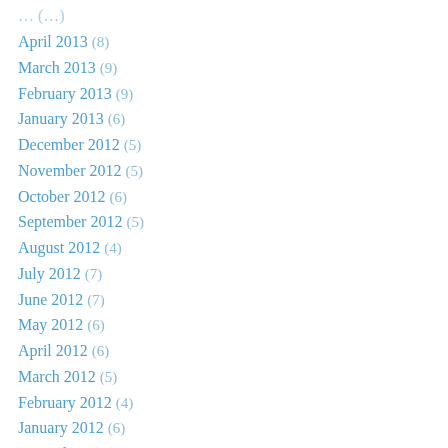April 2013 (8)
March 2013 (9)
February 2013 (9)
January 2013 (6)
December 2012 (5)
November 2012 (5)
October 2012 (6)
September 2012 (5)
August 2012 (4)
July 2012 (7)
June 2012 (7)
May 2012 (6)
April 2012 (6)
March 2012 (5)
February 2012 (4)
January 2012 (6)
December 2011 (5)
November 2011 (5)
October 2011 (4)
September 2011 (5)